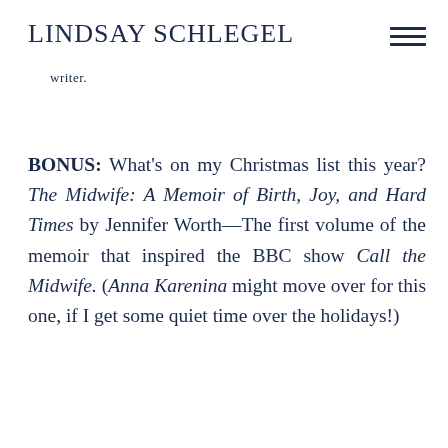LINDSAY SCHLEGEL
writer.
BONUS: What's on my Christmas list this year? The Midwife: A Memoir of Birth, Joy, and Hard Times by Jennifer Worth—The first volume of the memoir that inspired the BBC show Call the Midwife. (Anna Karenina might move over for this one, if I get some quiet time over the holidays!)